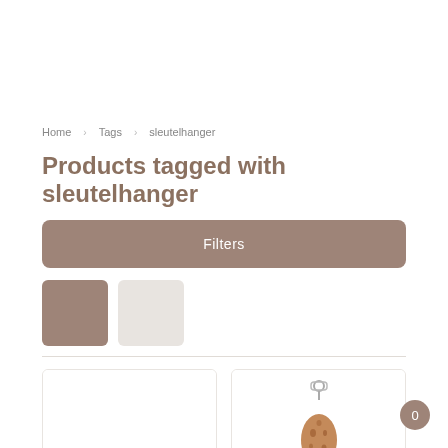Home   Tags   sleutelhanger
Products tagged with sleutelhanger
Filters
[Figure (other): Two color swatches: a brownish-taupe square and a light gray/white square]
[Figure (other): Two product cards side by side. Left card is empty white image area with label 'Bazen Bizon'. Right card shows a keychain/charm product (brown speckled teardrop shape with metal clasp hook).]